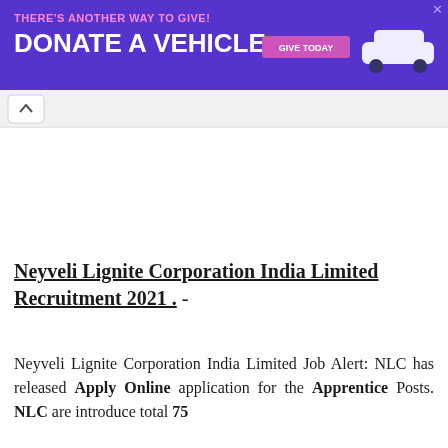[Figure (screenshot): Purple advertisement banner: 'THERE'S ANOTHER WAY TO GIVE! DONATE A VEHICLE GIVE TODAY' with a white car on the right and a pink 'GIVE TODAY' button.]
[Figure (screenshot): Browser UI bar with a back button (caret/chevron up icon) on a light gray background.]
Neyveli Lignite Corporation India Limited Recruitment 2021 . -
Neyveli Lignite Corporation India Limited Job Alert: NLC has released Apply Online application for the Apprentice Posts. NLC are introduce total 75